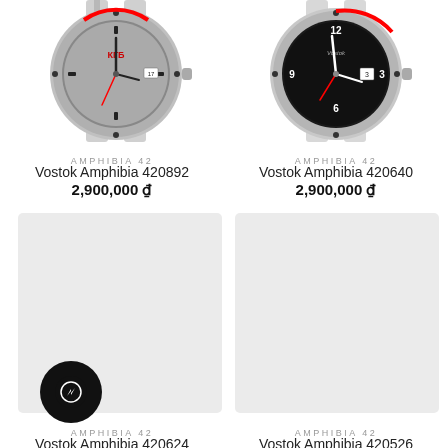[Figure (photo): Vostok Amphibia 420892 watch with grey dial and red accents on bezel, KGB emblem]
AMPHIBIA 42
Vostok Amphibia 420892
2,900,000 ₫
[Figure (photo): Vostok Amphibia 420640 watch with black dial, red second hand, date window]
AMPHIBIA 42
Vostok Amphibia 420640
2,900,000 ₫
[Figure (photo): Vostok Amphibia 420624 watch placeholder image (loading)]
AMPHIBIA 42
Vostok Amphibia 420624
[Figure (photo): Vostok Amphibia 420526 watch placeholder image (loading)]
AMPHIBIA 42
Vostok Amphibia 420526